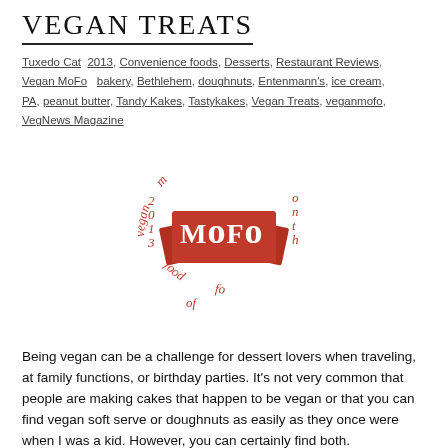Vegan Treats
Tuxedo Cat  2013, Convenience foods, Desserts, Restaurant Reviews, Vegan MoFo   bakery, Bethlehem, doughnuts, Entenmann's, ice cream, PA, peanut butter, Tandy Kakes, Tastykakes, Vegan Treats, veganmofo, VegNews Magazine
[Figure (logo): Vegan MoFo 2013 circular logo with red ribbon-style badge showing 'MoFo' and text arranged in a circle reading 'vegan month of food 2013']
Being vegan can be a challenge for dessert lovers when traveling, at family functions, or birthday parties. It's not very common that people are making cakes that happen to be vegan or that you can find vegan soft serve or doughnuts as easily as they once were when I was a kid. However, you can certainly find both.